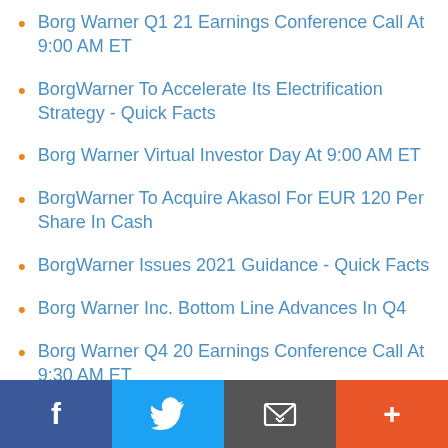Borg Warner Q1 21 Earnings Conference Call At 9:00 AM ET
BorgWarner To Accelerate Its Electrification Strategy - Quick Facts
Borg Warner Virtual Investor Day At 9:00 AM ET
BorgWarner To Acquire Akasol For EUR 120 Per Share In Cash
BorgWarner Issues 2021 Guidance - Quick Facts
Borg Warner Inc. Bottom Line Advances In Q4
Borg Warner Q4 20 Earnings Conference Call At 9:30 AM ET
Facebook | Twitter | Email | More